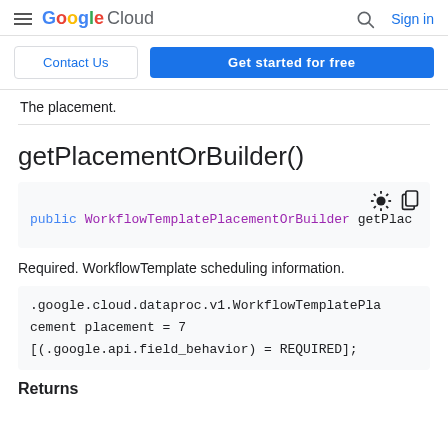Google Cloud — Search — Sign in
Contact Us | Get started for free
The placement.
getPlacementOrBuilder()
public WorkflowTemplatePlacementOrBuilder getPlac
Required. WorkflowTemplate scheduling information.
.google.cloud.dataproc.v1.WorkflowTemplatePlacement placement = 7 [(.google.api.field_behavior) = REQUIRED];
Returns